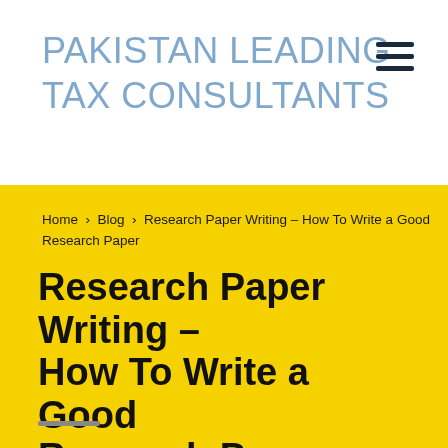PAKISTAN LEADING TAX CONSULTANTS
Home › Blog › Research Paper Writing – How To Write a Good Research Paper
Research Paper Writing – How To Write a Good Research Paper